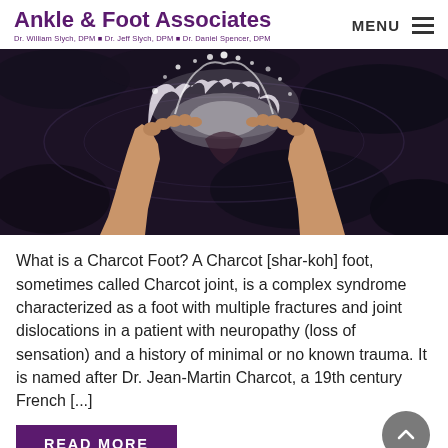Ankle & Foot Associates — Dr. William Slych, DPM • Dr. Jeff Slych, DPM • Dr. Daniel Spencer, DPM — MENU
[Figure (photo): Close-up photo of two feet in water with splashing water around the toes, viewed from above, against a dark wet background.]
What is a Charcot Foot? A Charcot [shar-koh] foot, sometimes called Charcot joint, is a complex syndrome characterized as a foot with multiple fractures and joint dislocations in a patient with neuropathy (loss of sensation) and a history of minimal or no known trauma. It is named after Dr. Jean-Martin Charcot, a 19th century French [...]
READ MORE